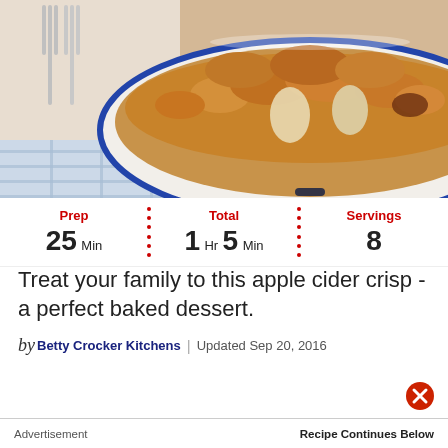[Figure (photo): Apple cider crisp in a white enamel baking dish with blue rim, topped with golden crumble, on a blue checked cloth, with forks in the background]
Prep 25 Min | Total 1 Hr 5 Min | Servings 8
Treat your family to this apple cider crisp - a perfect baked dessert.
by Betty Crocker Kitchens | Updated Sep 20, 2016
Advertisement    Recipe Continues Below